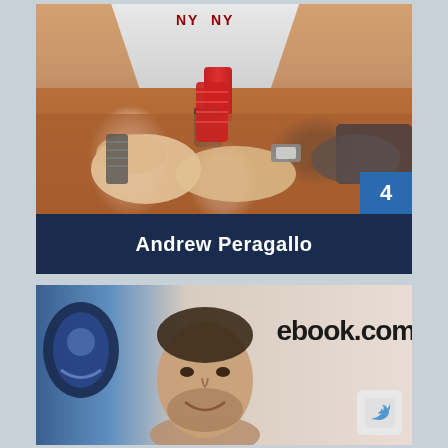[Figure (photo): Photo of hands at a poker table with chips, person wearing striped jersey in background. Number 4 badge in lower right corner.]
Andrew Peragallo
[Figure (photo): Photo of a smiling man at what appears to be a social media or gaming event. Partial text 'ebook.com/' visible in background along with a Twitter bird icon and a logo on the left.]